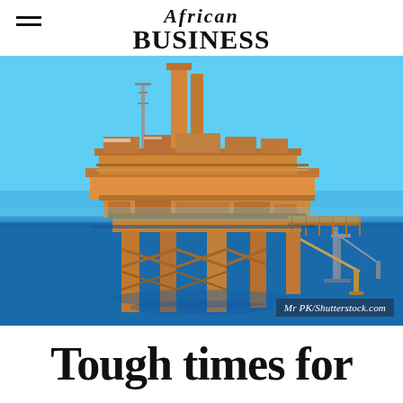African Business
[Figure (photo): Offshore oil drilling platform/rig in open blue sea, with orange metal framework structure, cranes, and a bridge arm extending to the right. Photo credit: Mr PK/Shutterstock.com]
Mr PK/Shutterstock.com
Tough times for